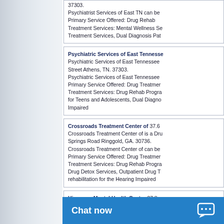37303. Psychiatrist Services of East TN can be... Primary Service Offered: Drug Rehab Treatment Services: Mental Wellness Se... Treatment Services, Dual Diagnosis Pat...
Psychiatric Services of East Tennessee Psychiatric Services of East Tennessee... Street Athens, TN. 37303. Psychiatric Services of East Tennessee... Primary Service Offered: Drug Treatment... Treatment Services: Drug Rehab Progra... for Teens and Adolescents, Dual Diagno... Impaired
Crossroads Treatment Center of 37.6... Crossroads Treatment Center of is a Dru... Springs Road Ringgold, GA. 30736. Crossroads Treatment Center of can be... Primary Service Offered: Drug Treatment... Treatment Services: Drug Rehab Progra... Drug Detox Services, Outpatient Drug T... rehabilitation for the Hearing Impaired
Hiwassee Mental Health Center 37.8 m... Hiwassee Mental Health Center is a Dru... Ingleside Avenue Athens, TN. 37303. Hiwassee Mental Health Center... be ility progra...
Chat now